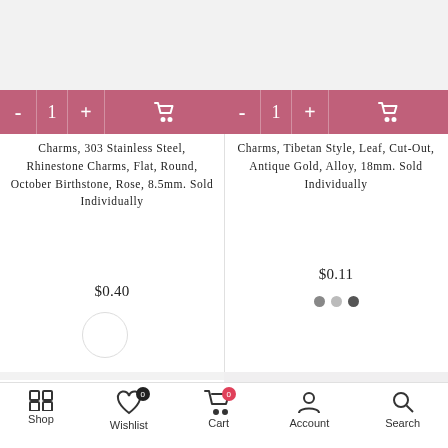[Figure (screenshot): Product image area for left product (gray background)]
[Figure (screenshot): Add to cart bar: minus, 1, plus, cart icon (pink/mauve background) - left product]
Charms, 303 Stainless Steel, Rhinestone Charms, Flat, Round, October Birthstone, Rose, 8.5mm. Sold Individually
$0.40
[Figure (screenshot): White circle color swatch under left product]
[Figure (screenshot): Product image area for right product (gray background)]
[Figure (screenshot): Add to cart bar: minus, 1, plus, cart icon (pink/mauve background) - right product]
Charms, Tibetan Style, Leaf, Cut-Out, Antique Gold, Alloy, 18mm. Sold Individually
$0.11
[Figure (screenshot): Three dots (pagination/color indicators) under right product price]
[Figure (screenshot): Back to top button with caret symbol]
Shop | Wishlist | Cart | Account | Search